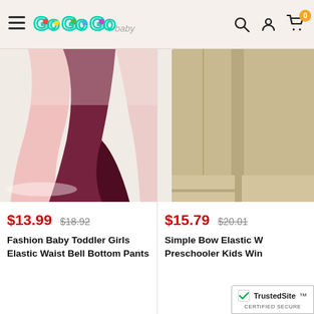GoGoGo Baby — navigation header with hamburger menu, logo, search, account, and cart icons
[Figure (photo): Product photo of pink and dark burgundy velvet bell bottom flare pants laid flat on white surface]
$13.99  $18.92
Fashion Baby Toddler Girls Elastic Waist Bell Bottom Pants
[Figure (photo): Product photo of khaki/beige wide leg pants, partial view on right side of screen]
$15.79  $20.01
Simple Bow Elastic W... Preschooler Kids Win...
[Figure (logo): TrustedSite Certified Secure badge in bottom right corner]